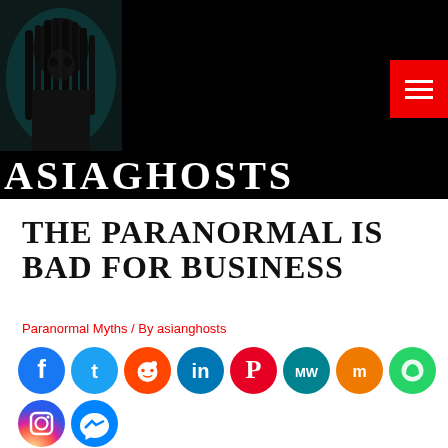[Figure (photo): Dark horror image of a figure with long black hair covering face, on dark/teal background — AsiaGhosts website header]
ASIAGHOSTS
THE PARANORMAL IS BAD FOR BUSINESS
Paranormal Myths / By asianghosts
[Figure (infographic): Row of social media share icons: Facebook, Twitter, Reddit, LinkedIn, Pinterest, MeWe, Mix, WhatsApp, Instagram, Messenger, YouTube, Telegram, Share]